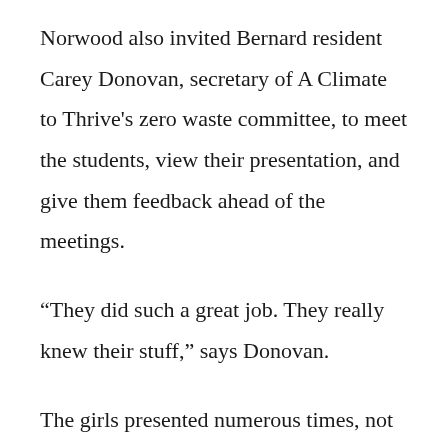Norwood also invited Bernard resident Carey Donovan, secretary of A Climate to Thrive's zero waste committee, to meet the students, view their presentation, and give them feedback ahead of the meetings.
“They did such a great job. They really knew their stuff,” says Donovan.
The girls presented numerous times, not only at other town meetings, but also for the island’s three largest libraries. The four students met with businesses to explain their proposed ban on polystyrene and single-